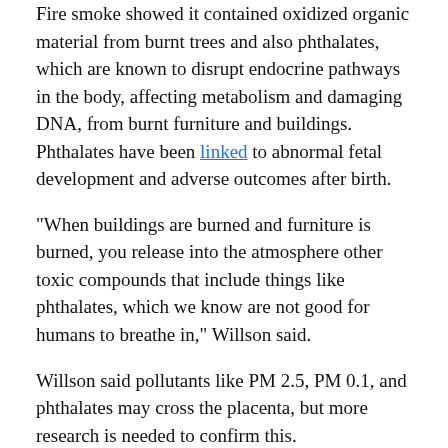Fire smoke showed it contained oxidized organic material from burnt trees and also phthalates, which are known to disrupt endocrine pathways in the body, affecting metabolism and damaging DNA, from burnt furniture and buildings. Phthalates have been linked to abnormal fetal development and adverse outcomes after birth.
"When buildings are burned and furniture is burned, you release into the atmosphere other toxic compounds that include things like phthalates, which we know are not good for humans to breathe in," Willson said.
Willson said pollutants like PM 2.5, PM 0.1, and phthalates may cross the placenta, but more research is needed to confirm this.
Stress from wildfires